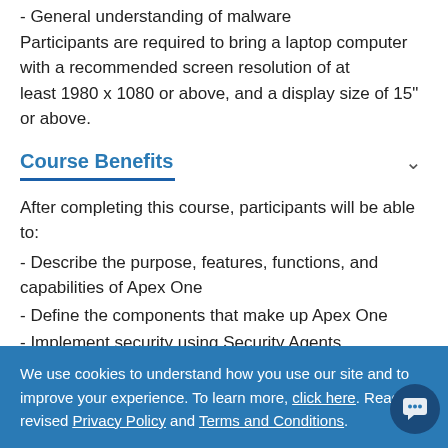- General understanding of malware
Participants are required to bring a laptop computer with a recommended screen resolution of at least 1980 x 1080 or above, and a display size of 15" or above.
Course Benefits
After completing this course, participants will be able to:
- Describe the purpose, features, functions, and capabilities of Apex One
- Define the components that make up Apex One
- Implement security using Security Agents
- Configure and administer Apex One Servers and
We use cookies to understand how you use our site and to improve your experience. To learn more, click here. Read our revised Privacy Policy and Terms and Conditions.